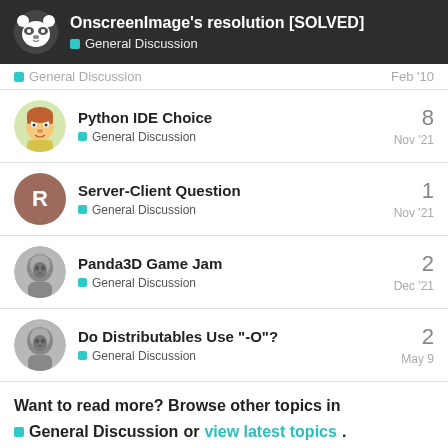OnscreenImage's resolution [SOLVED] — General Discussion
General Discussion — Feb '10 (partial row)
Python IDE Choice — General Discussion — 8 replies — Nov '21
Server-Client Question — General Discussion — 1 reply — Nov '21
Panda3D Game Jam — General Discussion — 2 replies — Dec '21
Do Distributables Use "-O"? — General Discussion — 2 replies — May 9
Want to read more? Browse other topics in General Discussion or view latest topics.